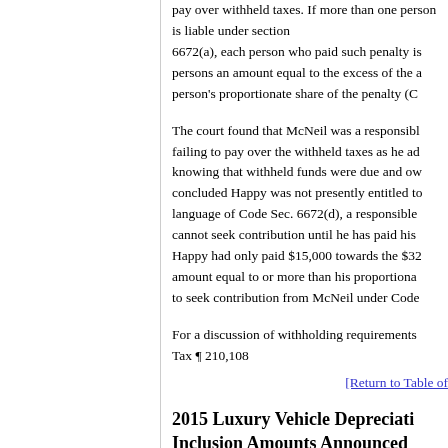pay over withheld taxes. If more than one person is liable under section 6672(a), each person who paid such penalty is entitled to recover from other persons an amount equal to the excess of the amount paid over that person's proportionate share of the penalty (C
The court found that McNeil was a responsible person and was guilty of failing to pay over the withheld taxes as he admitted paying other bills knowing that withheld funds were due and owed to the IRS. The court concluded Happy was not presently entitled to contribution. Under the language of Code Sec. 6672(d), a responsible person seeking contribution cannot seek contribution until he has paid his proportionate share. Since Happy had only paid $15,000 towards the $32... amount equal to or more than his proportionate share... to seek contribution from McNeil under Code
For a discussion of withholding requirements, see Parker Tax ¶ 210,108
[Return to Table of
2015 Luxury Vehicle Depreciation Inclusion Amounts Announced